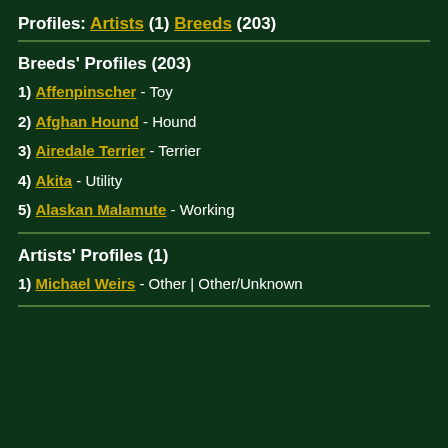Profiles: Artists (1) Breeds (203)
Breeds' Profiles (203)
1) Affenpinscher - Toy
2) Afghan Hound - Hound
3) Airedale Terrier - Terrier
4) Akita - Utility
5) Alaskan Malamute - Working
Artists' Profiles (1)
1) Michael Weirs - Other | Other/Unknown